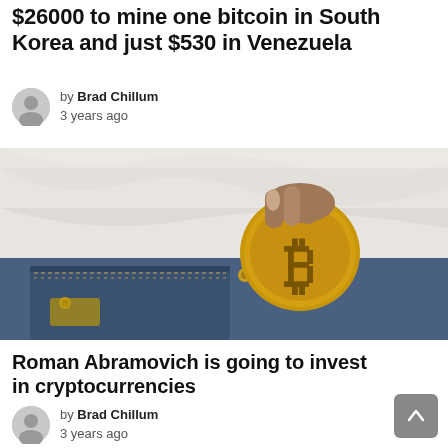$26000 to mine one bitcoin in South Korea and just $530 in Venezuela
by Brad Chillum
3 years ago
[Figure (photo): A hand placing a gold bitcoin coin into a denim jeans pocket against a white fabric background.]
Roman Abramovich is going to invest in cryptocurrencies
by Brad Chillum
3 years ago